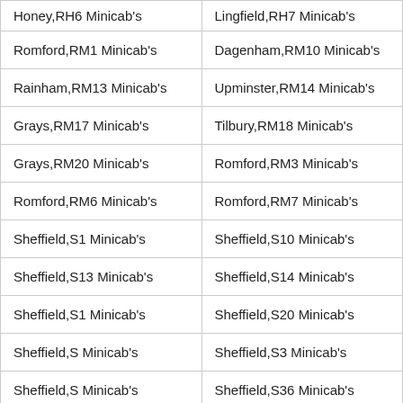| Honey,RH6 Minicab's | Lingfield,RH7 Minicab's |
| Romford,RM1 Minicab's | Dagenham,RM10 Minicab's |
| Rainham,RM13 Minicab's | Upminster,RM14 Minicab's |
| Grays,RM17 Minicab's | Tilbury,RM18 Minicab's |
| Grays,RM20 Minicab's | Romford,RM3 Minicab's |
| Romford,RM6 Minicab's | Romford,RM7 Minicab's |
| Sheffield,S1 Minicab's | Sheffield,S10 Minicab's |
| Sheffield,S13 Minicab's | Sheffield,S14 Minicab's |
| Sheffield,S[?] Minicab's | Sheffield,S20 Minicab's |
| Sheffield,S[?] Minicab's | Sheffield,S3 Minicab's |
| Sheffield,S[?] Minicab's | Sheffield,S36 Minicab's |
| Chesterfield,S41 minicab's | Chesterfield,S42 Minicab's |
| Chesterfield,S45 Minicab's | Sheffield,S5 Minicab's |